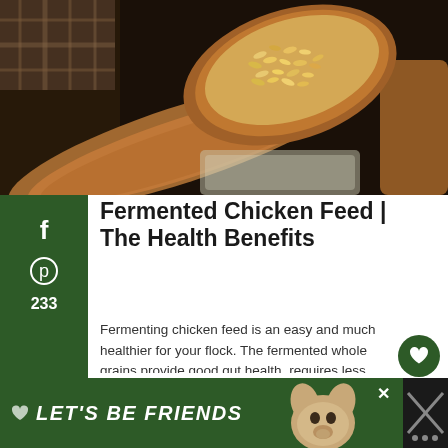[Figure (photo): A wooden spoon holding fermented whole grains over a glass jar, with dark background.]
Fermented Chicken Feed | The Health Benefits
Fermenting chicken feed is an easy and much healthier for your flock. The fermented whole grains provide good gut health, requires less feed per serving, and is a way to extend the nutrients of the grains. Not to mention, fermented grains can also be fed to water fowl, guineas, turkeys, and quail. When organic chicken … Continue reading
[Figure (infographic): Bottom banner advertisement: green background with dog image, text LET'S BE FRIENDS]